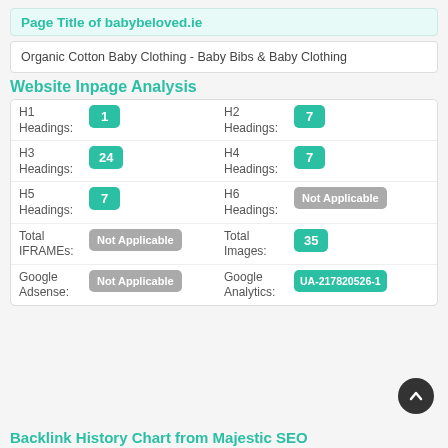Page Title of babybeloved.ie
Organic Cotton Baby Clothing - Baby Bibs & Baby Clothing
Website Inpage Analysis
| Label | Value | Label | Value |
| --- | --- | --- | --- |
| H1 Headings: | 1 | H2 Headings: | 7 |
| H3 Headings: | 24 | H4 Headings: | 7 |
| H5 Headings: | 7 | H6 Headings: | Not Applicable |
| Total IFRAMEs: | Not Applicable | Total Images: | 35 |
| Google Adsense: | Not Applicable | Google Analytics: | UA-217820526-1 |
Backlink History Chart from Majestic SEO